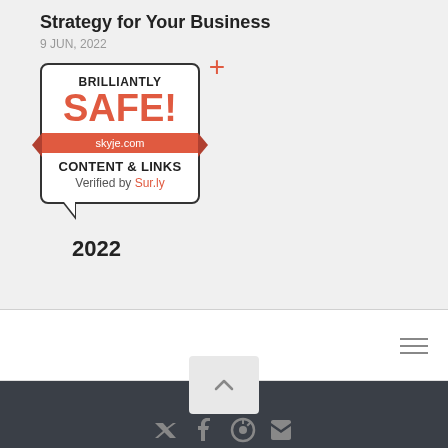Strategy for Your Business
9 JUN, 2022
[Figure (logo): Brilliantly SAFE! badge from Sur.ly showing skyje.com content and links verified, year 2022, with speech bubble design and salmon/coral ribbon]
Footer with social media icons (Twitter, Facebook, Pinterest, RSS, Email)